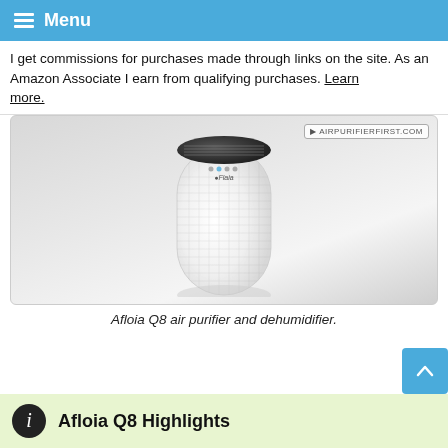Menu
I get commissions for purchases made through links on the site. As an Amazon Associate I earn from qualifying purchases. Learn more.
[Figure (photo): Afloia Q8 air purifier and dehumidifier — a white cylindrical device with a dark slatted top and perforated mesh body, shown on a grey gradient background with airpurifierfirst.com watermark.]
Afloia Q8 air purifier and dehumidifier.
Afloia Q8 Highlights